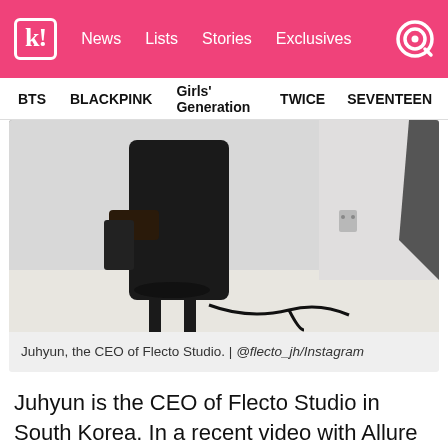k! News  Lists  Stories  Exclusives
BTS  BLACKPINK  Girls' Generation  TWICE  SEVENTEEN
[Figure (photo): Person dressed in black sitting on a stool in a white studio setting, holding a phone, with equipment cables on the floor]
Juhyun, the CEO of Flecto Studio. | @flecto_jh/Instagram
Juhyun is the CEO of Flecto Studio in South Korea. In a recent video with Allure Korea,